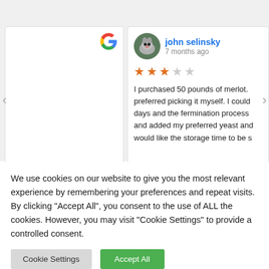[Figure (screenshot): Left Google review card showing partial text: 'was high quality.' and 'rward to working', with Google G logo in upper right]
[Figure (screenshot): Right Google review card for john selinsky, 7 months ago, 3-star rating, review text: 'I purchased 50 pounds of merlot. preferred picking it myself. I could days and the fermination process and added my preferred yeast and would like the storage time to be s']
We use cookies on our website to give you the most relevant experience by remembering your preferences and repeat visits. By clicking "Accept All", you consent to the use of ALL the cookies. However, you may visit "Cookie Settings" to provide a controlled consent.
Cookie Settings
Accept All